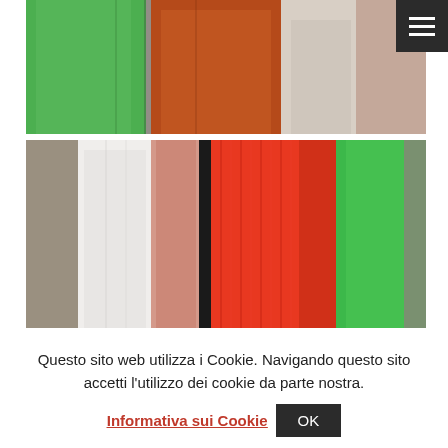[Figure (photo): Close-up of colorful clothing items hanging on a rack: green, orange-red/rust, beige/cream garments visible from above]
[Figure (photo): Close-up of colorful clothing items hanging on a rack: grey/beige, white, pink, bright red/orange pleated fabric, red-orange, green, and grey-green garments]
Questo sito web utilizza i Cookie. Navigando questo sito accetti l'utilizzo dei cookie da parte nostra.
Informativa sui Cookie  OK